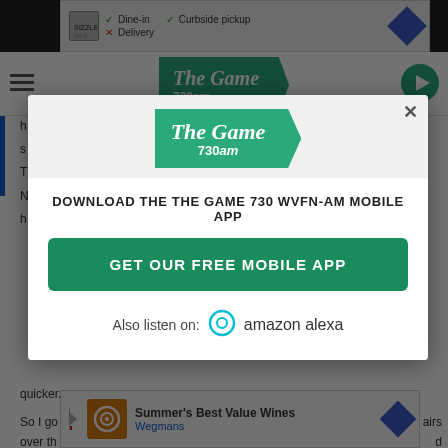[Figure (screenshot): Background screenshot of a web page showing a radio station website with navigation header, ad banners, and article body text. Overlaid with a dark semi-transparent overlay.]
[Figure (logo): The Game 730am radio station logo — teal arrow/pennant shape with italic white text 'The Game' and '730am' below.]
DOWNLOAD THE THE GAME 730 WVFN-AM MOBILE APP
GET OUR FREE MOBILE APP
Also listen on:  amazon alexa
quicker.
So I go
over th
Summer's Best Value Wines
Wegmans